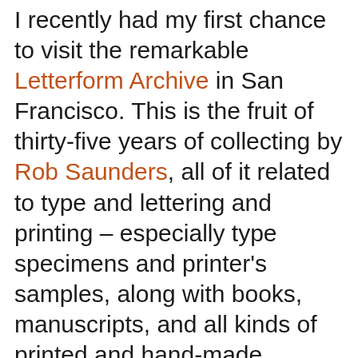I recently had my first chance to visit the remarkable Letterform Archive in San Francisco. This is the fruit of thirty-five years of collecting by Rob Saunders, all of it related to type and lettering and printing – especially type specimens and printer's samples, along with books, manuscripts, and all kinds of printed and hand-made ephemera. In 2013, Rob turned his private obsession into an institution and established the Letterform Archive as a formal entity. More recently, as he announced last month at TypeCon, he acquired the enormous collection of the late Dutch bibliophile Jan Tholenaar, consisting of thousands of type specimens from the